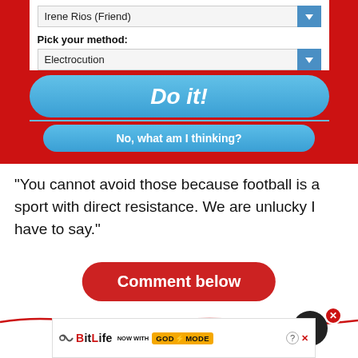[Figure (screenshot): Mobile app screenshot showing a dark-themed UI with red background. A dropdown shows 'Irene Rios (Friend)', a 'Pick your method:' label with 'Electrocution' dropdown, a large blue 'Do it!' button, and a blue 'No, what am I thinking?' button.]
“You cannot avoid those because football is a sport with direct resistance. We are unlucky I have to say.”
Comment below
[Figure (screenshot): BitLife ad banner showing logo, 'NOW WITH GOD MODE' text with lightning bolt and pointing hand graphic, and a help/close button.]